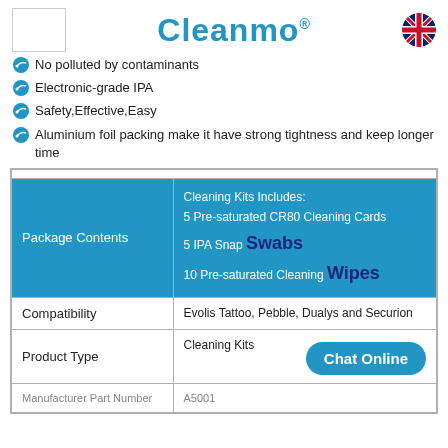[Figure (logo): Cleanmo brand logo with blue text and registered trademark symbol, plus UK flag icon]
No polluted by contaminants
Electronic-grade IPA
Safety,Effective,Easy
Aluminium foil packing make it have strong tightness and keep longer time
| Package Contents | Cleaning Kits Includes: |
| --- | --- |
| Package Contents | Cleaning Kits Includes:
5 Pre-saturated CR80 Cleaning Cards
5 IPA Snap Swabs
10 Pre-saturated Cleaning Wipes |
| Compatibility | Evolis Tattoo, Pebble, Dualys and Securion |
| Product Type | Cleaning Kits |
| Manufacturer Part Number | A5001 |